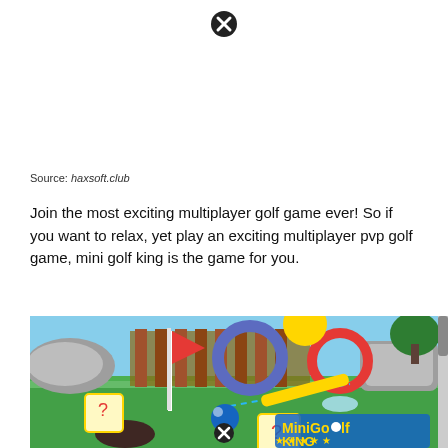[Figure (other): Close/dismiss button (X circle icon) at top center of page]
Source: haxsoft.club
Join the most exciting multiplayer golf game ever! So if you want to relax, yet play an exciting multiplayer pvp golf game, mini golf king is the game for you.
[Figure (screenshot): Screenshot of Mini Golf King mobile game showing a 3D colorful mini golf course with a red flag, golf hole, blue ball, dice-shaped obstacles, tunnels, and the Mini Golf King logo in the bottom right corner]
[Figure (other): Close/dismiss button (X circle icon) at bottom center overlaid on game screenshot]